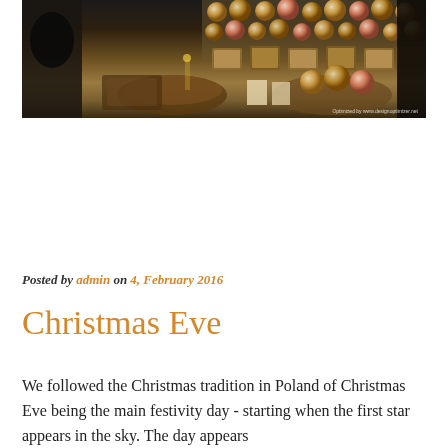[Figure (photo): Christmas market stall with decorative ornament balls, gift boxes, and holiday items displayed on a table. People browsing in the background. Watermark: 'Optimized by www.designoptimizer.net']
Posted by admin on 4, February 2016
Christmas Eve
We followed the Christmas tradition in Poland of Christmas Eve being the main festivity day - starting when the first star appears in the sky. The day appears